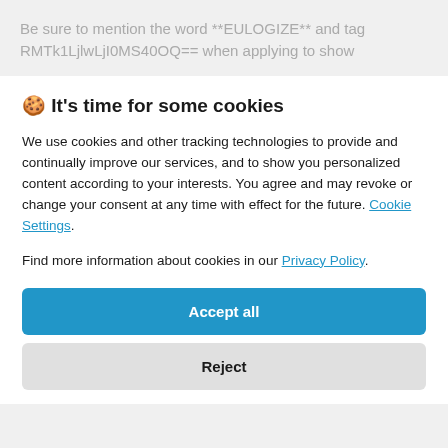Be sure to mention the word **EULOGIZE** and tag RMTk1LjlwLjI0MS40OQ== when applying to show
🍪 It's time for some cookies
We use cookies and other tracking technologies to provide and continually improve our services, and to show you personalized content according to your interests. You agree and may revoke or change your consent at any time with effect for the future. Cookie Settings.
Find more information about cookies in our Privacy Policy.
Accept all
Reject